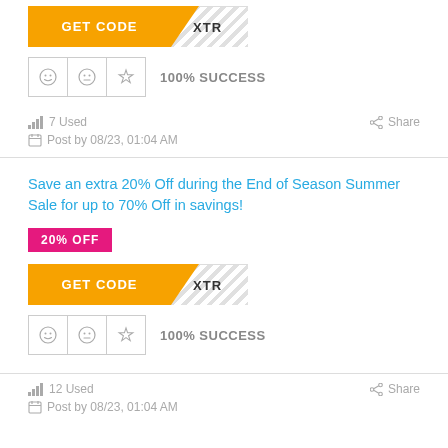[Figure (other): GET CODE button with XTR code reveal panel, orange style]
100% SUCCESS
7 Used   Share
Post by 08/23, 01:04 AM
Save an extra 20% Off during the End of Season Summer Sale for up to 70% Off in savings!
20% OFF
[Figure (other): GET CODE button with XTR code reveal panel, orange style]
100% SUCCESS
12 Used   Share
Post by 08/23, 01:04 AM